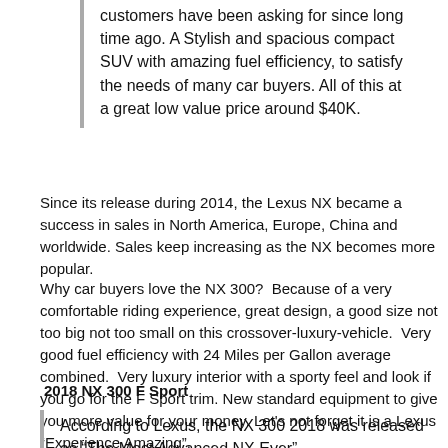customers have been asking for since long time ago. A Stylish and spacious compact SUV with amazing fuel efficiency, to satisfy the needs of many car buyers. All of this at a great low value price around $40K.
Since its release during 2014, the Lexus NX became a success in sales in North America, Europe, China and worldwide. Sales keep increasing as the NX becomes more popular.
Why car buyers love the NX 300?  Because of a very comfortable riding experience, great design, a good size not too big not too small on this crossover-luxury-vehicle.  Very good fuel efficiency with 24 Miles per Gallon average combined.  Very luxury interior with a sporty feel and look if you go for the F Sport trim. New standard equipment to give you more value for your money. Let's not forget it is a Lexus “Experience Amazing”.
2018 NX 300 F Sport
According to Lexus, the NX 300 2018 was released as “The Most Advanced NX Ever”.